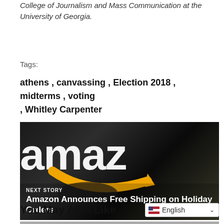Whitley Carpenter is a senior majoring in journalism in the Grady College of Journalism and Mass Communication at the University of Georgia.
Tags:
athens , canvassing , Election 2018 , midterms , voting , Whitley Carpenter
[Figure (photo): Amazon logo close-up photograph showing 'amaz' text in white on dark background with yellow smile arrow below. Overlay text: NEXT STORY — Amazon Announces Free Shipping on Holiday Orders]
[Figure (photo): Gray gradient background with overlay text: PREV STORY — Action Ministries Provides [text cut off] Problem]
You May Also Like
English